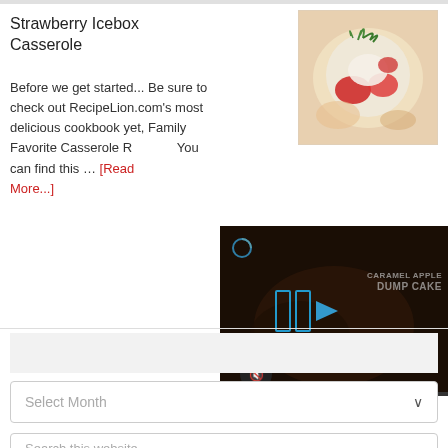Strawberry Icebox Casserole
Before we get started... Be sure to check out RecipeLion.com's most delicious cookbook yet, Family Favorite Casserole Recipes. You can find this … [Read More...]
[Figure (photo): Bowl of strawberry icebox casserole dessert with fresh strawberries and mint leaves]
[Figure (screenshot): Video player overlay showing Caramel Apple Dump Cake video with play button controls, mute button, and progress bar]
Select Month
Search this website